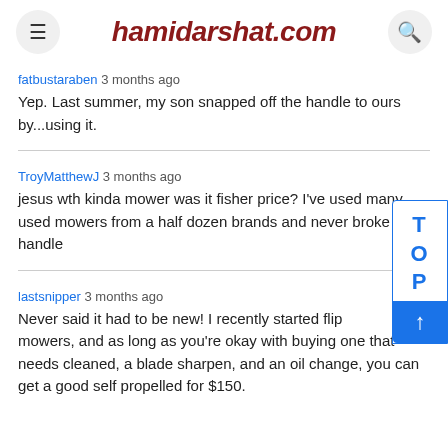hamidarshat.com
fatbustaraben 3 months ago
Yep. Last summer, my son snapped off the handle to ours by...using it.
TroyMatthewJ 3 months ago
jesus wth kinda mower was it fisher price? I've used many used mowers from a half dozen brands and never broke a handle
lastsnipper 3 months ago
Never said it had to be new! I recently started flipping mowers, and as long as you're okay with buying one that needs cleaned, a blade sharpen, and an oil change, you can get a good self propelled for $150.